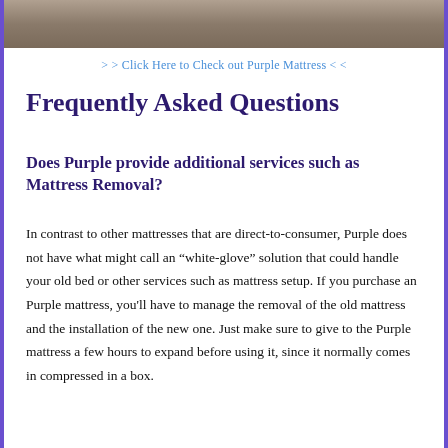[Figure (photo): Bottom portion of a photo showing what appears to be a mattress or bed surface with dark and tan tones]
> > Click Here to Check out Purple Mattress < <
Frequently Asked Questions
Does Purple provide additional services such as Mattress Removal?
In contrast to other mattresses that are direct-to-consumer, Purple does not have what might call an “white-glove” solution that could handle your old bed or other services such as mattress setup. If you purchase an Purple mattress, you’ll have to manage the removal of the old mattress and the installation of the new one. Just make sure to give to the Purple mattress a few hours to expand before using it, since it normally comes in compressed in a box.